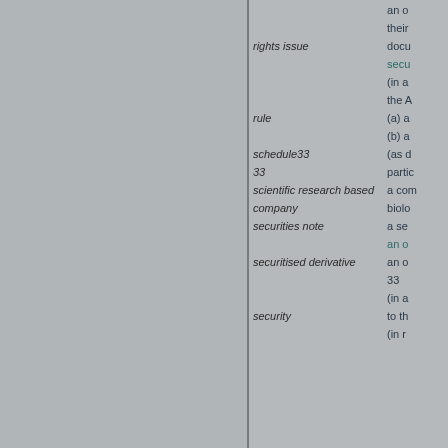| Term | Definition |
| --- | --- |
|  | an of |
|  | their |
| rights issue | docu |
|  | secu |
|  | (in a |
|  | the A |
| rule | (a) a |
|  | (b) a |
| schedule33 | (as d |
| 33 | partic |
| scientific research based company | a com biolo |
| securities note | a sec an o |
| securitised derivative | an o 33 (in a |
| security | to th (in r |